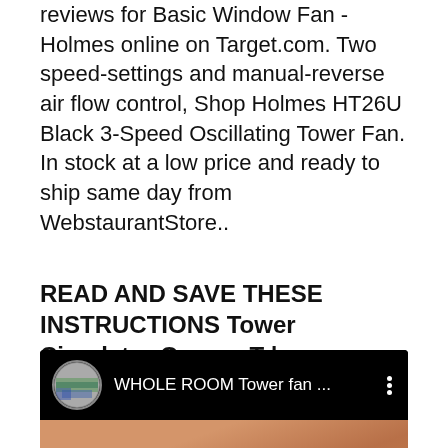reviews for Basic Window Fan - Holmes online on Target.com. Two speed-settings and manual-reverse air flow control, Shop Holmes HT26U Black 3-Speed Oscillating Tower Fan. In stock at a low price and ready to ship same day from WebstaurantStore..
READ AND SAVE THESE INSTRUCTIONS Tower Circulator OwnerвЂ¦
[Figure (screenshot): YouTube video thumbnail showing 'WHOLE ROOM Tower fan ...' with a circular avatar thumbnail and three-dot menu icon on a black bar, with a warm-toned video preview below.]